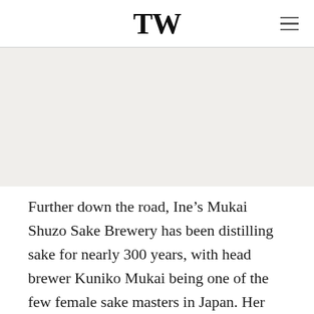TW
[Figure (photo): A large image placeholder area (photo content not visible in this crop)]
Further down the road, Ine’s Mukai Shuzo Sake Brewery has been distilling sake for nearly 300 years, with head brewer Kuniko Mukai being one of the few female sake masters in Japan. Her Ine